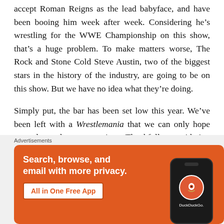accept Roman Reigns as the lead babyface, and have been booing him week after week. Considering he's wrestling for the WWE Championship on this show, that's a huge problem. To make matters worse, The Rock and Stone Cold Steve Austin, two of the biggest stars in the history of the industry, are going to be on this show. But we have no idea what they're doing.
Simply put, the bar has been set low this year. We've been left with a Wrestlemania that we can only hope exceeds our low expectations. Thankfully, considering the quality of the product as of late, that shouldn't be
[Figure (other): DuckDuckGo advertisement banner with orange background showing 'Search, browse, and email with more privacy. All in One Free App' with a phone mockup displaying the DuckDuckGo logo.]